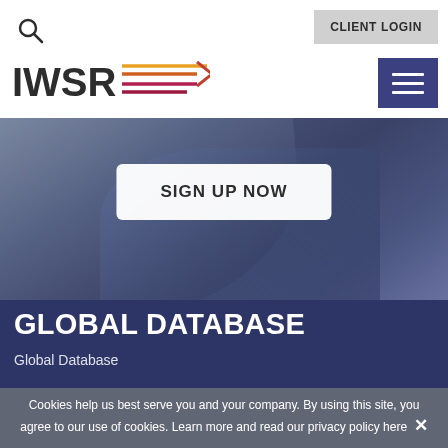CLIENT LOGIN
[Figure (logo): IWSR logo with stylized orange-to-red gradient arrow lines]
[Figure (other): Dark blue/grey hero image background with diagonal abstract shapes]
SIGN UP NOW
GLOBAL DATABASE
Global Database
Cookies help us best serve you and your company. By using this site, you agree to our use of cookies. Learn more and read our privacy policy here